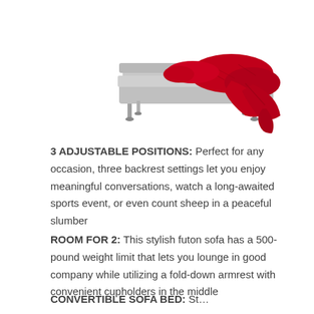[Figure (photo): A gray convertible futon sofa bed in flat/bed position with silver chrome legs, with a red/crimson knit throw blanket draped over it, photographed on a white background.]
3 ADJUSTABLE POSITIONS: Perfect for any occasion, three backrest settings let you enjoy meaningful conversations, watch a long-awaited sports event, or even count sheep in a peaceful slumber
ROOM FOR 2: This stylish futon sofa has a 500-pound weight limit that lets you lounge in good company while utilizing a fold-down armrest with convenient cupholders in the middle
CONVERTIBLE SOFA BED: St...